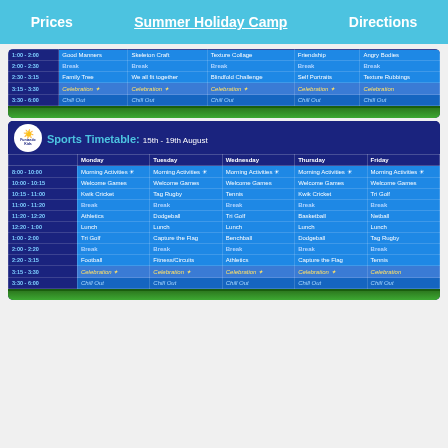Prices   Summer Holiday Camp   Directions
| Time | Monday | Tuesday | Wednesday | Thursday | Friday |
| --- | --- | --- | --- | --- | --- |
| 1:00 - 2:00 | Good Manners | Skeleton Craft | Texture Collage | Friendship | Angry Bodies |
| 2:00 - 2:30 | Break | Break | Break | Break | Break |
| 2:30 - 3:15 | Family Tree | We all fit together | Blindfold Challenge | Self Portraits | Texture Rubbings |
| 3:15 - 3:30 | Celebration | Celebration | Celebration | Celebration | Celebration |
| 3:30 - 6:00 | Chill Out | Chill Out | Chill Out | Chill Out | Chill Out |
|  | Monday | Tuesday | Wednesday | Thursday | Friday |
| --- | --- | --- | --- | --- | --- |
| 8:00 - 10:00 | Morning Activities | Morning Activities | Morning Activities | Morning Activities | Morning Activities |
| 10:00 - 10:15 | Welcome Games | Welcome Games | Welcome Games | Welcome Games | Welcome Games |
| 10:15 - 11:00 | Kwik Cricket | Tag Rugby | Tennis | Kwik Cricket | Tri Golf |
| 11:00 - 11:20 | Break | Break | Break | Break | Break |
| 11:20 - 12:20 | Athletics | Dodgeball | Tri Golf | Basketball | Netball |
| 12:20 - 1:00 | Lunch | Lunch | Lunch | Lunch | Lunch |
| 1:00 - 2:00 | Tri Golf | Capture the Flag | Benchball | Dodgeball | Tag Rugby |
| 2:00 - 2:20 | Break | Break | Break | Break | Break |
| 2:20 - 3:15 | Football | Fitness/Circuits | Athletics | Capture the Flag | Tennis |
| 3:15 - 3:30 | Celebration | Celebration | Celebration | Celebration | Celebration |
| 3:30 - 6:00 | Chill Out | Chill Out | Chill Out | Chill Out | Chill Out |